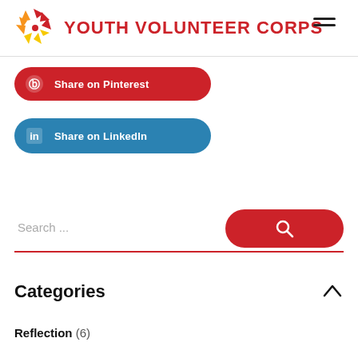YOUTH VOLUNTEER CORPS
[Figure (logo): Youth Volunteer Corps logo with starburst icon and red text]
[Figure (other): Hamburger menu icon (three horizontal lines)]
Share on Pinterest
Share on LinkedIn
Search ...
Categories
Reflection (6)